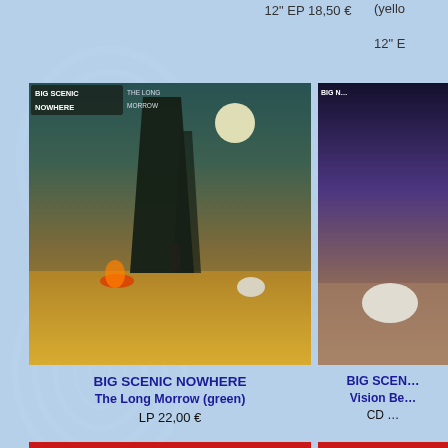12" EP 18,50 €
(yello...
12" E...
[Figure (photo): Big Scenic Nowhere - The Long Morrow album cover (green): surrealist desert scene with tall dark rock formation, moon, small human figure, golden sands]
BIG SCENIC NOWHERE
The Long Morrow (green)
LP 22,00 €
[Figure (photo): Big Scenic Nowhere - Vision Be... album cover: desert landscape with purple/mauve tones, partial image cut off at right edge]
BIG SCEN...
Vision Be...
CD ...
[Figure (photo): Brant Bjork & The Bros - Somera Sol album cover: red background with circular logo featuring gold sun face design with text BRANT BJORK & THE BROS and SOMERA SOL]
BJORK, BRANT & THE BROS.
Somera Sol (black)
LP 18,50 €
[Figure (photo): Brant Bjork & The Bros - Somera Sol (second variant) album cover: red background, same circular sun logo design, partially cut off at right edge]
BJORK, B...
Somera... /re...
LP ...